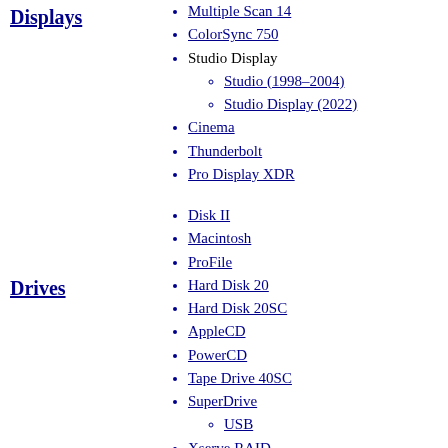Displays
Multiple Scan 14
ColorSync 750
Studio Display
Studio (1998–2004)
Studio Display (2022)
Cinema
Thunderbolt
Pro Display XDR
Drives
Disk II
Macintosh
ProFile
Hard Disk 20
Hard Disk 20SC
AppleCD
PowerCD
Tape Drive 40SC
SuperDrive
USB
Xserve RAID
Desktop Bus
iPad accessories
Pencil
Smart Keyboard